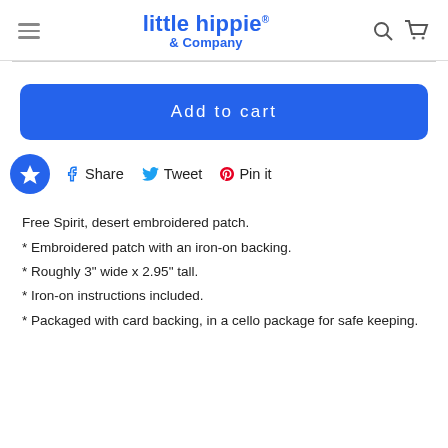little hippie & Company
[Figure (logo): little hippie & Company brand logo in blue, with hamburger menu icon on left and search/cart icons on right]
Add to cart
Share  Tweet  Pin it
Free Spirit, desert embroidered patch.
* Embroidered patch with an iron-on backing.
* Roughly 3" wide x 2.95" tall.
* Iron-on instructions included.
* Packaged with card backing, in a cello package for safe keeping.